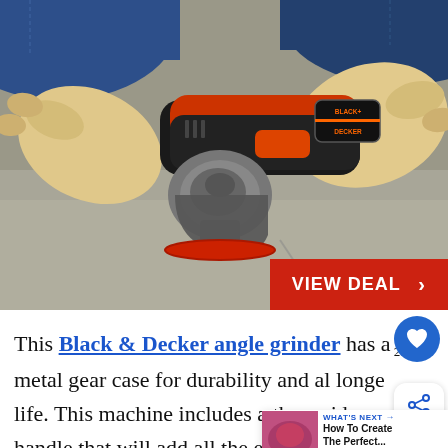[Figure (photo): A person wearing jeans and work gloves using a BLACK+DECKER angle grinder on a concrete surface. The grinder has an orange and black body with a red grinding disc.]
VIEW DEAL >
This Black & Decker angle grinder has a metal gear case for durability and al longer life. This machine includes a three side handle that will add all the extra comfort you may need, not to mention